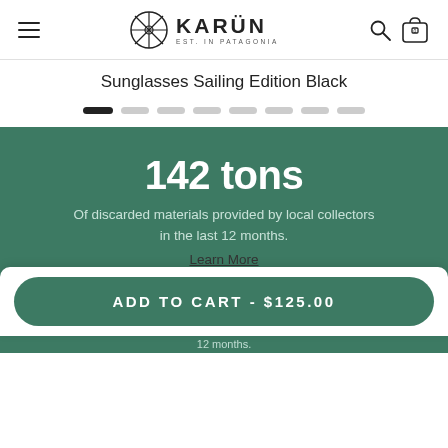KARÜN EST. IN PATAGONIA
Sunglasses Sailing Edition Black
[Figure (other): Pagination dots row — one dark active dot followed by seven light inactive dots]
142 tons
Of discarded materials provided by local collectors in the last 12 months.
Learn More
92 impact leaders
ADD TO CART - $125.00
12 months.